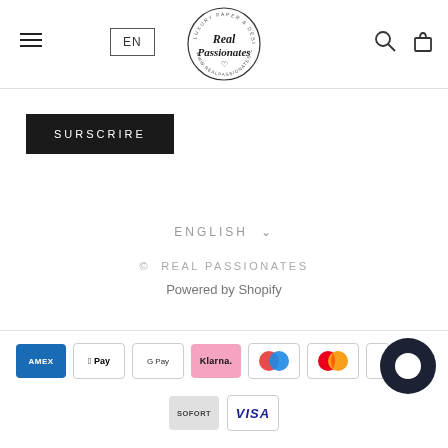[Figure (logo): Real Passionates circular logo with script text and heart, with 'Luxury Paper & Design Goods' around the ring]
EN
SURSCRIRE
ENGLISH ∨
© REAL PASSIONATES
Powered by Shopify
[Figure (infographic): Payment method icons: American Express, Apple Pay, Google Pay, Klarna, Maestro, Mastercard, Sofort, Visa, and a chat bubble icon]